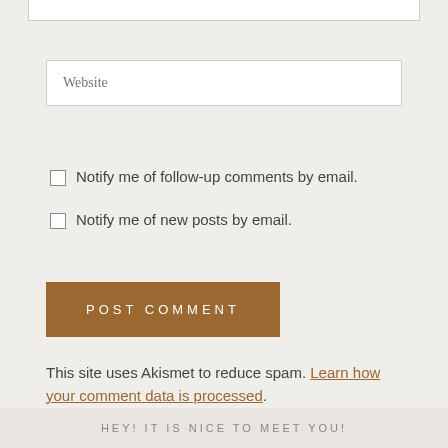Website (placeholder input field)
Notify me of follow-up comments by email.
Notify me of new posts by email.
POST COMMENT
This site uses Akismet to reduce spam. Learn how your comment data is processed.
HEY! IT IS NICE TO MEET YOU!